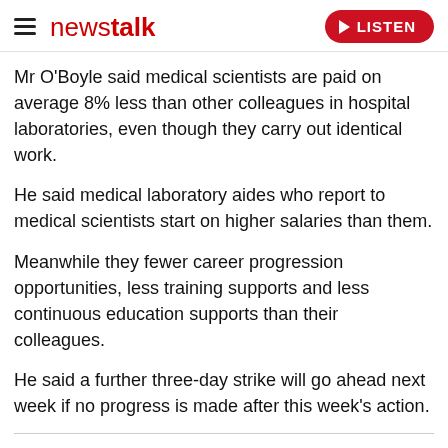newstalk — LISTEN
Mr O'Boyle said medical scientists are paid on average 8% less than other colleagues in hospital laboratories, even though they carry out identical work.
He said medical laboratory aides who report to medical scientists start on higher salaries than them.
Meanwhile they fewer career progression opportunities, less training supports and less continuous education supports than their colleagues.
He said a further three-day strike will go ahead next week if no progress is made after this week's action.
SHARE THIS ARTICLE
READ MORE ABOUT